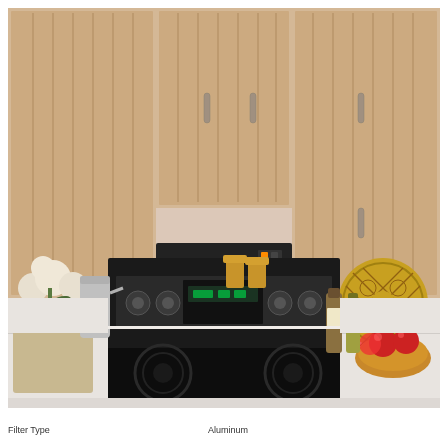[Figure (photo): Kitchen scene showing a black under-cabinet range hood mounted between light wood cabinets with vertical slat detailing and metal bar handles, above a black electric stove/range. Stainless steel backsplash, white countertop with decorative items including a gold woven decorative plate, a bowl of apples, oil bottles on the right, and flowers with a metal pitcher on the left.]
Filter Type    Aluminum